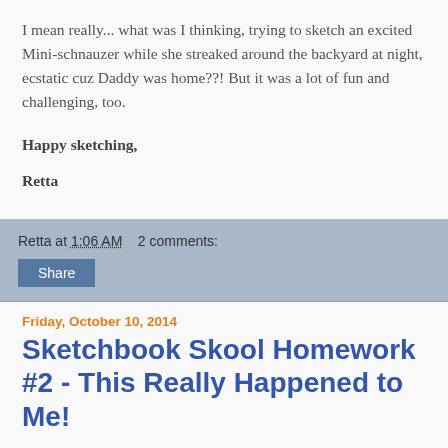I mean really... what was I thinking, trying to sketch an excited Mini-schnauzer while she streaked around the backyard at night, ecstatic cuz Daddy was home??! But it was a lot of fun and challenging, too.
Happy sketching,

Retta
Retta at 1:06 AM    2 comments:
Share
Friday, October 10, 2014
Sketchbook Skool Homework #2 - This Really Happened to Me!
Whoa, this week went by too fast!